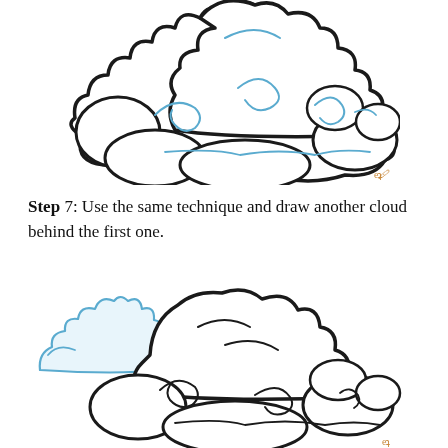[Figure (illustration): A finished cloud drawing step showing multiple overlapping cloud puffs with decorative blue spiral swirl lines inside, all outlined in thick black lines on white background. A small orange-brown artist signature mark appears at bottom right.]
Step 7: Use the same technique and draw another cloud behind the first one.
[Figure (illustration): A cloud drawing in progress showing a second cloud being added behind the first. The second cloud appears in blue outline to the left, while the main cloud cluster is drawn in thick black lines with decorative curved lines inside. A small orange-brown artist signature mark appears at bottom right.]